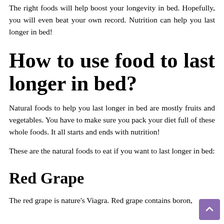The right foods will help boost your longevity in bed. Hopefully, you will even beat your own record. Nutrition can help you last longer in bed!
How to use food to last longer in bed?
Natural foods to help you last longer in bed are mostly fruits and vegetables. You have to make sure you pack your diet full of these whole foods. It all starts and ends with nutrition!
These are the natural foods to eat if you want to last longer in bed:
Red Grape
The red grape is nature's Viagra. Red grape contains boron,